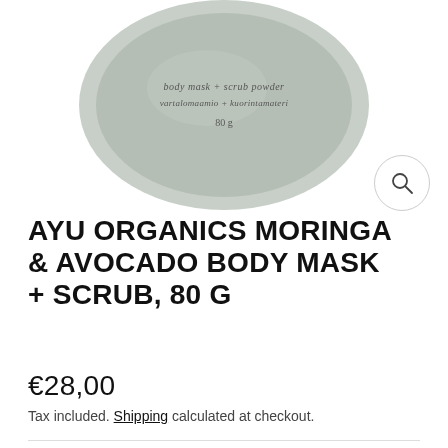[Figure (photo): Top-down view of a round gray cosmetic jar/tin lid showing text: 'body mask + scrub powder vartalomaamio + kuorintamateri 80 g']
AYU ORGANICS MORINGA & AVOCADO BODY MASK + SCRUB, 80 G
€28,00
Tax included. Shipping calculated at checkout.